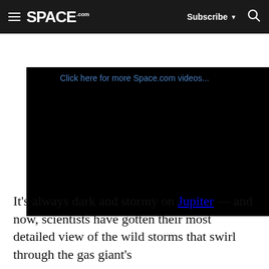SPACE.com | Subscribe | Search
[Figure (screenshot): Video player with black background and 'Click here for more Space.com videos...' link text in blue at the top]
It's always dark and stormy on Jupiter — and now, scientists have gotten their most detailed view of the wild storms that swirl through the gas giant's